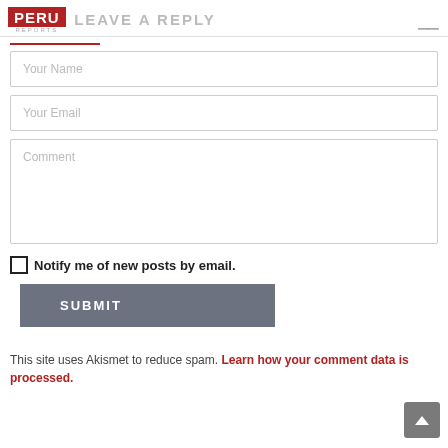PERU REPORTS — LEAVE A REPLY
LEAVE A REPLY
Your Name
Your Email
Comment
Notify me of new posts by email.
SUBMIT
This site uses Akismet to reduce spam. Learn how your comment data is processed.